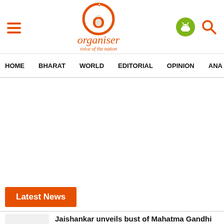Organiser - Voice of the Nation
HOME   BHARAT   WORLD   EDITORIAL   OPINION   ANA
Latest News
Jaishankar unveils bust of Mahatma Gandhi in Portugal...